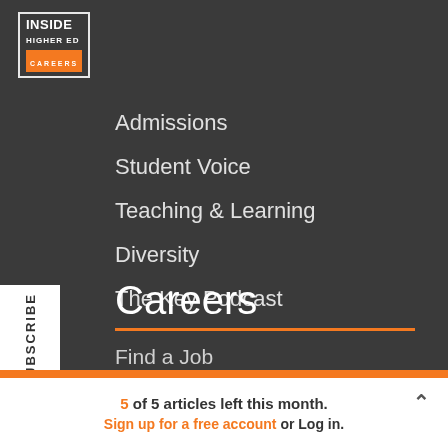[Figure (logo): Inside Higher Ed Careers logo with orange background bar and white border box]
Admissions
Student Voice
Teaching & Learning
Diversity
The Key Podcast
Careers
Find a Job
5 of 5 articles left this month.
Sign up for a free account or Log in.